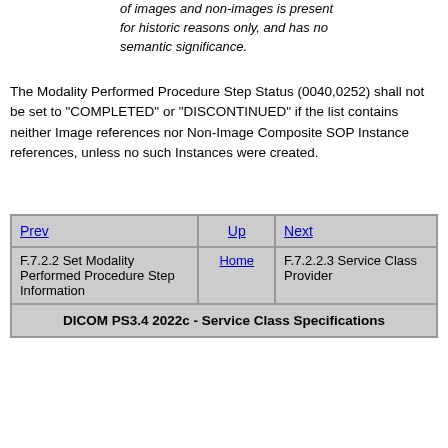of images and non-images is present for historic reasons only, and has no semantic significance.
The Modality Performed Procedure Step Status (0040,0252) shall not be set to "COMPLETED" or "DISCONTINUED" if the list contains neither Image references nor Non-Image Composite SOP Instance references, unless no such Instances were created.
| Prev | Up | Next |
| --- | --- | --- |
| F.7.2.2 Set Modality Performed Procedure Step Information | Home | F.7.2.2.3 Service Class Provider |
| DICOM PS3.4 2022c - Service Class Specifications |  |  |